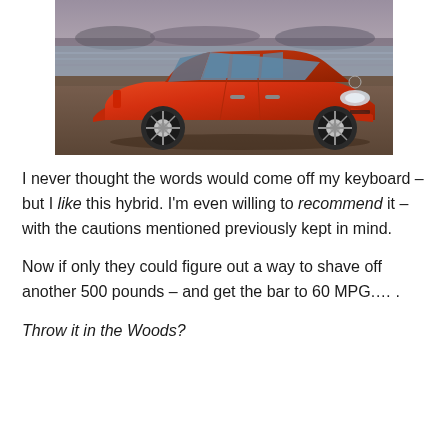[Figure (photo): Orange/red Toyota Prius c hatchback parked near waterfront with hilly background, photographed from a front-three-quarter angle.]
I never thought the words would come off my keyboard – but I like this hybrid. I'm even willing to recommend it – with the cautions mentioned previously kept in mind.
Now if only they could figure out a way to shave off another 500 pounds – and get the bar to 60 MPG....
Throw it in the Woods?